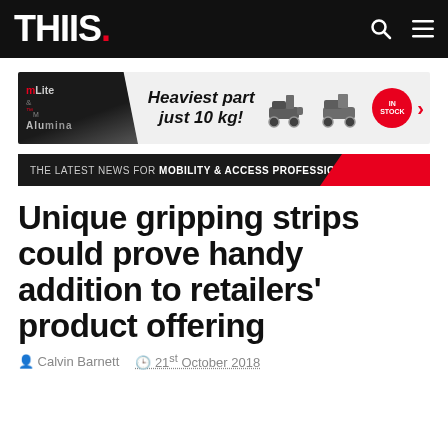THIIS.
[Figure (infographic): Advertisement banner for mLite & Alumina mobility scooters. Text reads: Heaviest part just 10 kg! Shows two scooter images, a red IN STOCK badge, and a red arrow.]
THE LATEST NEWS FOR MOBILITY & ACCESS PROFESSIONALS
Unique gripping strips could prove handy addition to retailers' product offering
Calvin Barnett   21st October 2018